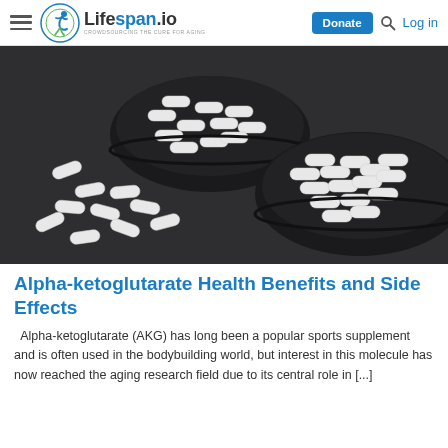Lifespan.io — CROWDSOURCING THE CURE FOR AGING | Donate | Log in
[Figure (photo): Two black bowls and scattered white supplement capsules/pills on a dark gray textured surface]
Alpha-ketoglutarate Health Benefits and Side Effects
Alpha-ketoglutarate (AKG) has long been a popular sports supplement and is often used in the bodybuilding world, but interest in this molecule has now reached the aging research field due to its central role in [...]